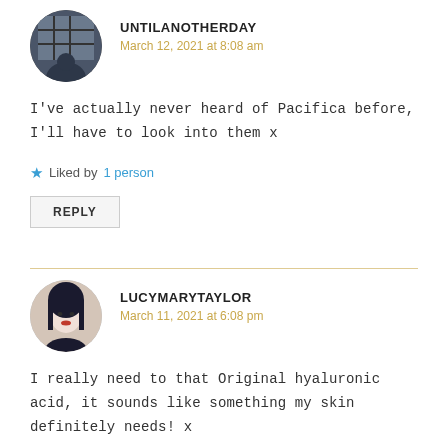[Figure (photo): Circular avatar photo of user UNTILANOTHERDAY showing a person sitting near a window with a grid pattern]
UNTILANOTHERDAY
March 12, 2021 at 8:08 am
I've actually never heard of Pacifica before, I'll have to look into them x
★ Liked by 1 person
REPLY
[Figure (photo): Circular avatar photo of user LUCYMARYTAYLOR showing a woman with dark hair and red lipstick]
LUCYMARYTAYLOR
March 11, 2021 at 6:08 pm
I really need to that Original hyaluronic acid, it sounds like something my skin definitely needs! x